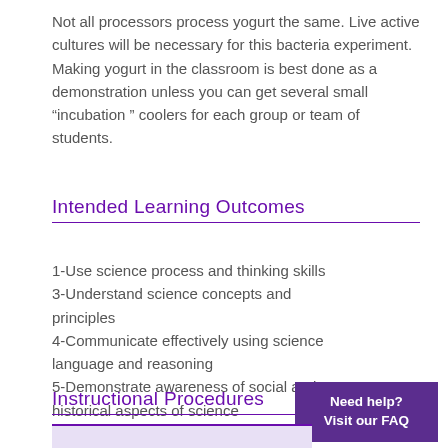Not all processors process yogurt the same. Live active cultures will be necessary for this bacteria experiment. Making yogurt in the classroom is best done as a demonstration unless you can get several small “incubation ” coolers for each group or team of students.
Intended Learning Outcomes
1-Use science process and thinking skills
3-Understand science concepts and principles
4-Communicate effectively using science language and reasoning
5-Demonstrate awareness of social and historical aspects of science
Instructional Procedures
Need help? Visit our FAQ